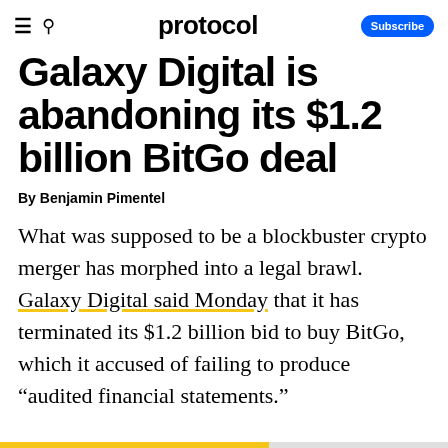protocol  Subscribe
Galaxy Digital is abandoning its $1.2 billion BitGo deal
By Benjamin Pimentel
What was supposed to be a blockbuster crypto merger has morphed into a legal brawl. Galaxy Digital said Monday that it has terminated its $1.2 billion bid to buy BitGo, which it accused of failing to produce “audited financial statements.”